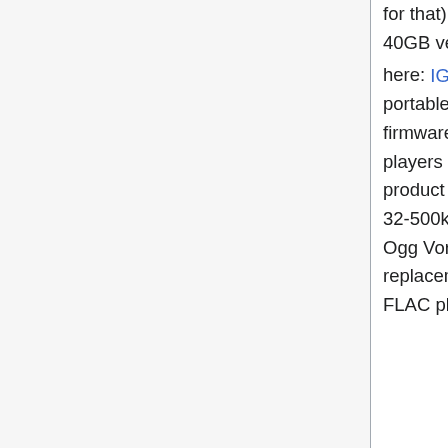for that). The iHP-120, a 20GB portable player, and the iHP-140, a 40GB version, support Vorbis playback out of the box. Read reviews here: IGN on iHP-100, IGN on iHP-120. The iGP-100, a 1.5Gb portable player, supports Vorbis, according to the FAQ, though no firmware upgrade appears to be required. The new line of harddisk players H120, H140 come in 10 to 40 GB sizes. There is also a product line with USB host function and colour display that supports 32-500kbs: H320, H340]. The newer H10 player does not support Ogg Vorbis. Many iRiver devices can be loaded with the RockBox replacement firmware which plays Ogg Vorbis as well as adding FLAC playback.